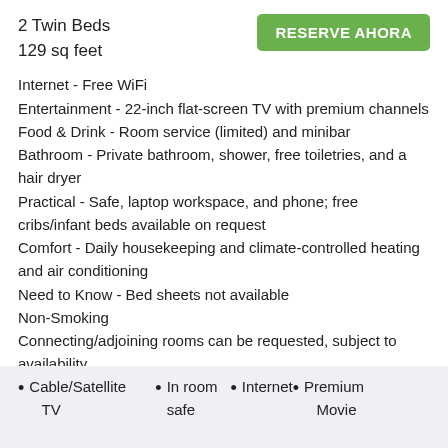2 Twin Beds
129 sq feet
RESERVE AHORA
Internet - Free WiFi
Entertainment - 22-inch flat-screen TV with premium channels
Food & Drink - Room service (limited) and minibar
Bathroom - Private bathroom, shower, free toiletries, and a hair dryer
Practical - Safe, laptop workspace, and phone; free cribs/infant beds available on request
Comfort - Daily housekeeping and climate-controlled heating and air conditioning
Need to Know - Bed sheets not available
Non-Smoking
Connecting/adjoining rooms can be requested, subject to availability
Cable/Satellite TV
In room safe
Premium Movie
Internet